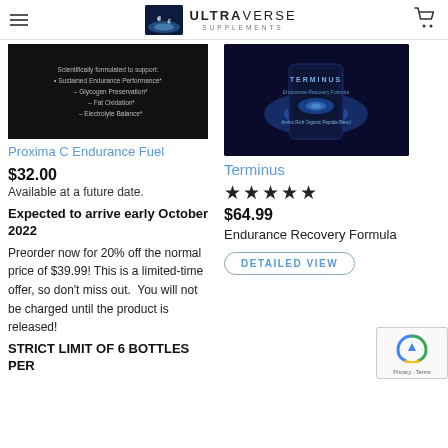ULTRAVERSE SUPPLEMENTS
[Figure (photo): Product image: Proxima C Endurance Fuel black package with white text listing benefits: Scientifically formulated to support Sustained Endurance Performance, Glycogen Preservation, Fat Oxidation, Electrolyte Balance]
Proxima C Endurance Fuel
$32.00
Available at a future date.
Expected to arrive early October 2022
Preorder now for 20% off the normal price of $39.99! This is a limited-time offer, so don't miss out.  You will not be charged until the product is released!
STRICT LIMIT OF 6 BOTTLES PER
[Figure (photo): Product image: Terminus Endurance Recovery Formula dark supplement container with blue/galaxy design]
Terminus
★★★★★
$64.99
Endurance Recovery Formula
DETAILED VIEW